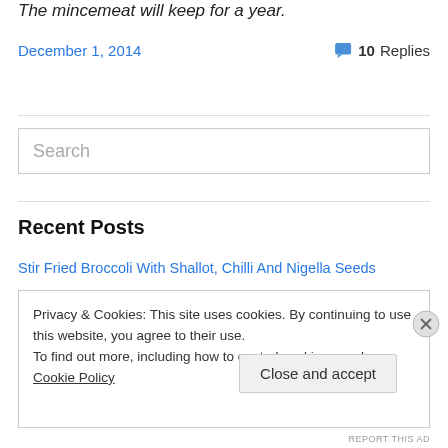The mincemeat will keep for a year.
December 1, 2014
💬 10 Replies
Search
Recent Posts
Stir Fried Broccoli With Shallot, Chilli And Nigella Seeds
Privacy & Cookies: This site uses cookies. By continuing to use this website, you agree to their use.
To find out more, including how to control cookies, see here: Cookie Policy
Close and accept